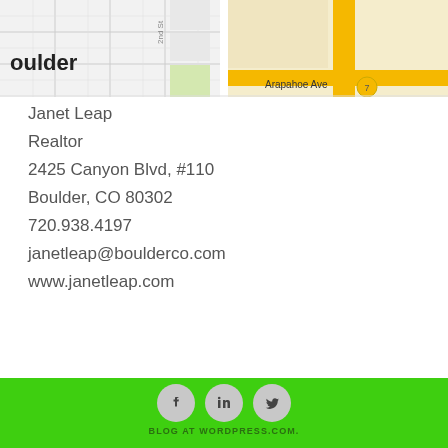[Figure (map): Street map showing Boulder area with Arapahoe Ave visible, partially cropped. Left side shows city grid labeled 'boulder', right side shows highlighted streets including Arapahoe Ave and a numbered marker.]
Janet Leap
Realtor
2425 Canyon Blvd, #110
Boulder, CO 80302
720.938.4197
janetleap@boulderco.com
www.janetleap.com
[Figure (other): Three social media icons: Facebook, LinkedIn, Twitter in circular grey buttons on green background]
BLOG AT WORDPRESS.COM.